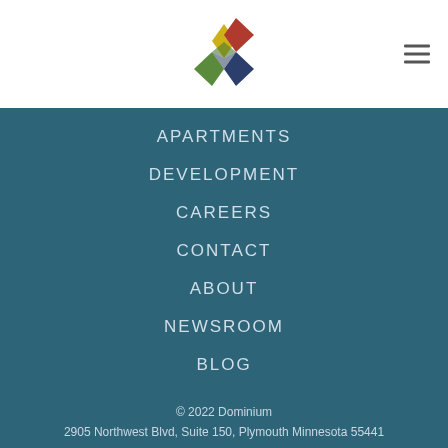[Figure (logo): Dominium colorful geometric logo mark with green, yellow, red, and dark blue/navy facets forming an abstract diamond/pinwheel shape]
APARTMENTS
DEVELOPMENT
CAREERS
CONTACT
ABOUT
NEWSROOM
BLOG
© 2022 Dominium
2905 Northwest Blvd, Suite 150, Plymouth Minnesota 55441
Follow us on LinkedIn
SITEMAP   PRIVACY POLICY